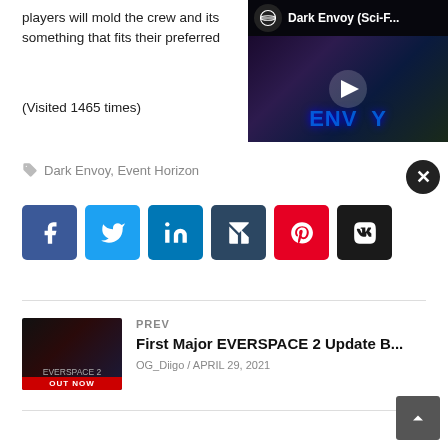players will mold the crew and its something that fits their preferred
[Figure (screenshot): Video thumbnail for Dark Envoy (Sci-F... with play button, dark fantasy game artwork with Event Horizon logo]
(Visited 1465 times)
Dark Envoy, Event Horizon
[Figure (infographic): Social share buttons: Facebook, Twitter, LinkedIn, Tumblr, Pinterest, VK]
[Figure (screenshot): EVERSPACE 2 game thumbnail with OUT NOW label]
PREV
First Major EVERSPACE 2 Update B...
OG_Diigo / APRIL 29, 2021